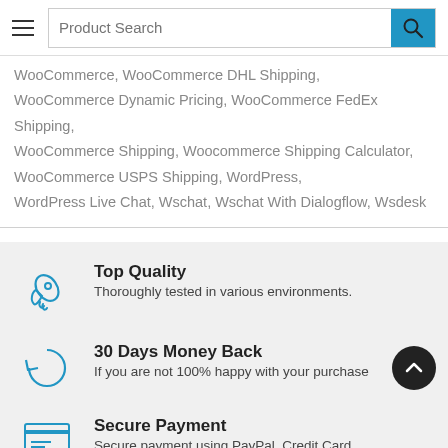Product Search
WooCommerce, WooCommerce DHL Shipping, WooCommerce Dynamic Pricing, WooCommerce FedEx Shipping, WooCommerce Shipping, Woocommerce Shipping Calculator, WooCommerce USPS Shipping, WordPress, WordPress Live Chat, Wschat, Wschat With Dialogflow, Wsdesk
Top Quality
Thoroughly tested in various environments.
30 Days Money Back
If you are not 100% happy with your purchase
Secure Payment
Secure payment using PayPal, Credit Card